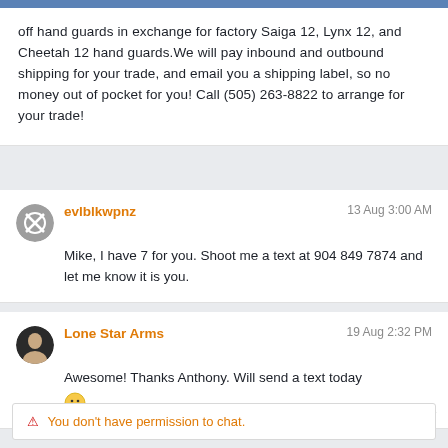off hand guards in exchange for factory Saiga 12, Lynx 12, and Cheetah 12 hand guards.We will pay inbound and outbound shipping for your trade, and email you a shipping label, so no money out of pocket for you! Call (505) 263-8822 to arrange for your trade!
evlblkwpnz  13 Aug 3:00 AM
Mike, I have 7 for you. Shoot me a text at 904 849 7874 and let me know it is you.
Lone Star Arms  19 Aug 2:32 PM
Awesome! Thanks Anthony. Will send a text today 🙂
⚠ You don't have permission to chat.